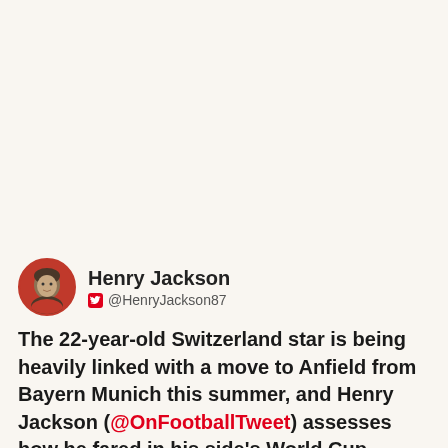[Figure (photo): Circular avatar photo of Henry Jackson with red border, showing a person at what appears to be a football stadium]
Henry Jackson @HenryJackson87
The 22-year-old Switzerland star is being heavily linked with a move to Anfield from Bayern Munich this summer, and Henry Jackson (@OnFootballTweet) assesses how he fared in his side's World Cup opener against Ecuador on Sunday.